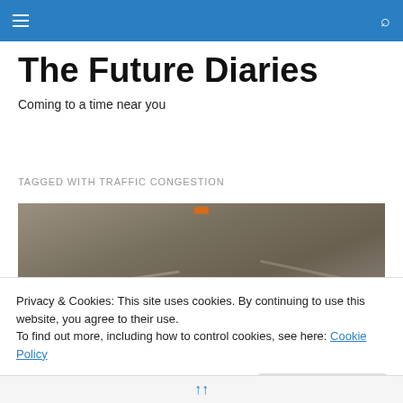Navigation menu and search icons
The Future Diaries
Coming to a time near you
TAGGED WITH TRAFFIC CONGESTION
[Figure (photo): Aerial/overhead view of a highway or road interchange, dark muted tones with an orange light visible near the top center]
Privacy & Cookies: This site uses cookies. By continuing to use this website, you agree to their use.
To find out more, including how to control cookies, see here: Cookie Policy
Close and accept